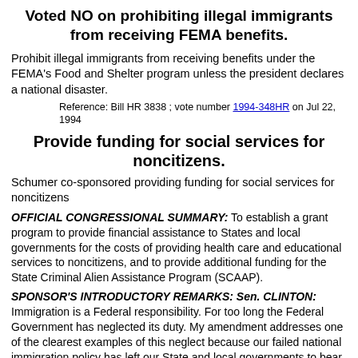Voted NO on prohibiting illegal immigrants from receiving FEMA benefits.
Prohibit illegal immigrants from receiving benefits under the FEMA's Food and Shelter program unless the president declares a national disaster.
Reference: Bill HR 3838 ; vote number 1994-348HR on Jul 22, 1994
Provide funding for social services for noncitizens.
Schumer co-sponsored providing funding for social services for noncitizens
OFFICIAL CONGRESSIONAL SUMMARY: To establish a grant program to provide financial assistance to States and local governments for the costs of providing health care and educational services to noncitizens, and to provide additional funding for the State Criminal Alien Assistance Program (SCAAP).
SPONSOR'S INTRODUCTORY REMARKS: Sen. CLINTON: Immigration is a Federal responsibility. For too long the Federal Government has neglected its duty. My amendment addresses one of the clearest examples of this neglect because our failed national immigration policy has left our State and local governments to bear the brunt of the cost of immigration. Our schools, our hospitals, our other State and local services are being strained.
This amendment does several things. It helps finally provide adequate support for State and local governments. How? Well, it not only appropriates the SCAAP funding to our States, but it establishes a program that provides financial assistance to State and local governments for the cost of health and educational services related to immigration. Money is allocated to our States in accordance